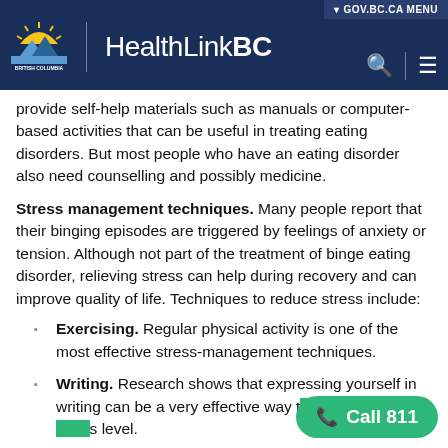HealthLinkBC | GOV.BC.CA MENU
provide self-help materials such as manuals or computer-based activities that can be useful in treating eating disorders. But most people who have an eating disorder also need counselling and possibly medicine.
Stress management techniques. Many people report that their binging episodes are triggered by feelings of anxiety or tension. Although not part of the treatment of binge eating disorder, relieving stress can help during recovery and can improve quality of life. Techniques to reduce stress include:
Exercising. Regular physical activity is one of the most effective stress-management techniques.
Writing. Research shows that expressing yourself in writing can be a very effective way to reduce your stress level.